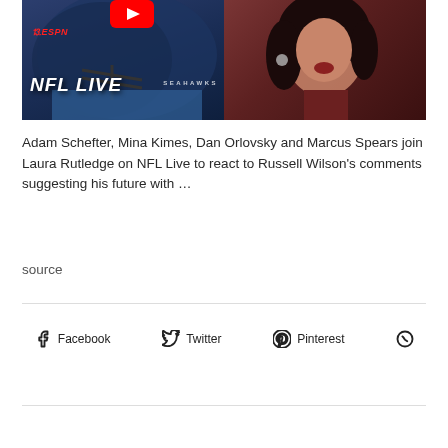[Figure (screenshot): YouTube video thumbnail showing an NFL player in a Seattle Seahawks helmet on the left half and a woman in a dark red turtleneck on the right half. The left side has ESPN NFL LIVE text overlay and a YouTube play button icon visible at the top.]
Adam Schefter, Mina Kimes, Dan Orlovsky and Marcus Spears join Laura Rutledge on NFL Live to react to Russell Wilson's comments suggesting his future with …
source
Facebook
Twitter
Pinterest